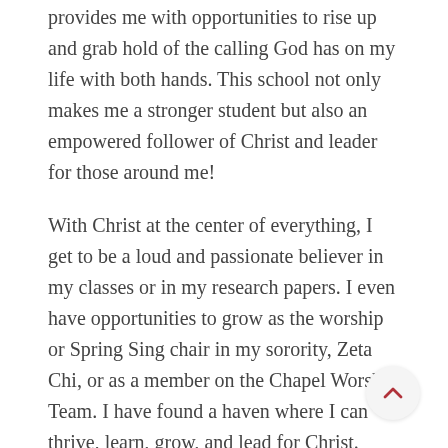provides me with opportunities to rise up and grab hold of the calling God has on my life with both hands. This school not only makes me a stronger student but also an empowered follower of Christ and leader for those around me!
With Christ at the center of everything, I get to be a loud and passionate believer in my classes or in my research papers. I even have opportunities to grow as the worship or Spring Sing chair in my sorority, Zeta Chi, or as a member on the Chapel Worship Team. I have found a haven where I can thrive, learn, grow, and lead for Christ. Every class, every paper, every song, every conversation, every little (though not insignificant) thing is a step.